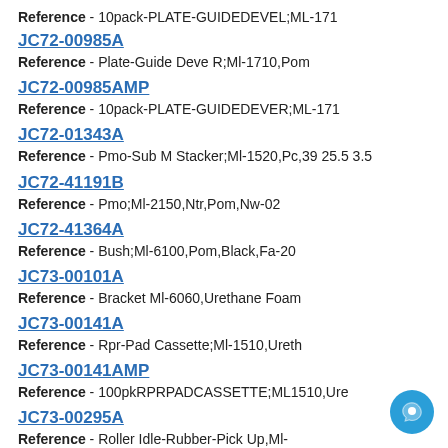Reference - 10pack-PLATE-GUIDEDEVEL;ML-171
JC72-00985A
Reference - Plate-Guide Deve R;Ml-1710,Pom
JC72-00985AMP
Reference - 10pack-PLATE-GUIDEDEVER;ML-171
JC72-01343A
Reference - Pmo-Sub M Stacker;Ml-1520,Pc,39 25.5 3.5
JC72-41191B
Reference - Pmo;Ml-2150,Ntr,Pom,Nw-02
JC72-41364A
Reference - Bush;Ml-6100,Pom,Black,Fa-20
JC73-00101A
Reference - Bracket Ml-6060,Urethane Foam
JC73-00141A
Reference - Rpr-Pad Cassette;Ml-1510,Ureth
JC73-00141AMP
Reference - 100pkRPRPADCASSETTE;ML1510,Ure
JC73-00295A
Reference - Roller Idle-Rubber-Pick Up,Ml-
JC73-00328A
Reference - Roller Idle-Rubber-Tl;Ml-6510p-